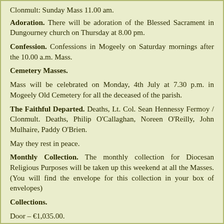Clonmult: Sunday Mass 11.00 am.
Adoration. There will be adoration of the Blessed Sacrament in Dungourney church on Thursday at 8.00 pm.
Confession. Confessions in Mogeely on Saturday mornings after the 10.00 a.m. Mass.
Cemetery Masses.
Mass will be celebrated on Monday, 4th July at 7.30 p.m. in Mogeely Old Cemetery for all the deceased of the parish.
The Faithful Departed. Deaths, Lt. Col. Sean Hennessy Fermoy / Clonmult. Deaths, Philip O'Callaghan, Noreen O'Reilly, John Mulhaire, Paddy O'Brien.
May they rest in peace.
Monthly Collection. The monthly collection for Diocesan Religious Purposes will be taken up this weekend at all the Masses. (You will find the envelope for this collection in your box of envelopes)
Collections.
Door – €1,035.00.
Building Fund – €786.00.
Thank You.